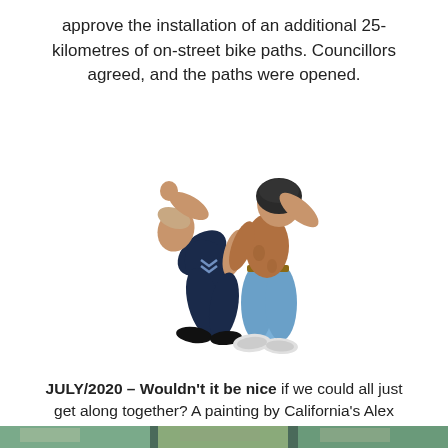approve the installation of an additional 25-kilometres of on-street bike paths. Councillors agreed, and the paths were opened.
[Figure (illustration): Illustration/painting of two figures — one in a dark navy police uniform bent forward, and one shirtless figure in light blue jeans wearing a helmet, in a dynamic confrontational or dance-like pose against a white background.]
JULY/2020 – Wouldn't it be nice if we could all just get along together? A painting by California's Alex Donis.
[Figure (photo): Partial bottom strip showing an outdoor scene, cropped at the bottom of the page.]